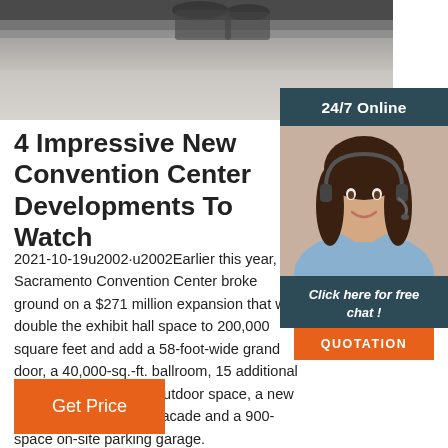[Figure (photo): Top partial photo of a vehicle undercarriage / exhaust area against pavement, faded gray tones]
[Figure (photo): Right sidebar photo of a woman with headset smiling, customer service representative, above a dark teal background with '24/7 Online' header and 'Click here for free chat!' text and orange QUOTATION button]
4 Impressive New Convention Center Developments To Watch
2021-10-19u2002·u2002Earlier this year, the Sacramento Convention Center broke ground on a $271 million expansion that will double the exhibit hall space to 200,000 square feet and add a 58-foot-wide grand door, a 40,000-sq.-ft. ballroom, 15 additional meeting rooms, more outdoor space, a new entry with an all-glass facade and a 900-space on-site parking garage.
Get Price